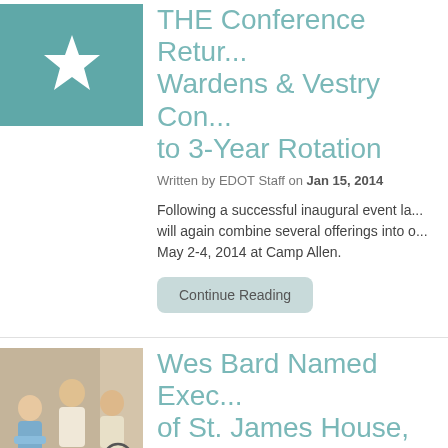[Figure (illustration): Teal square with a white star in the center]
THE Conference Retur... Wardens & Vestry Con... to 3-Year Rotation
Written by EDOT Staff on Jan 15, 2014
Following a successful inaugural event la... will again combine several offerings into o... May 2-4, 2014 at Camp Allen.
Continue Reading
[Figure (photo): Three elderly people sitting together, one in a wheelchair, in an indoor setting]
Wes Bard Named Exec... of St. James House, Ba...
on Dec 23, 2013
Bard, formerly of Lutheran Homes of Sou...